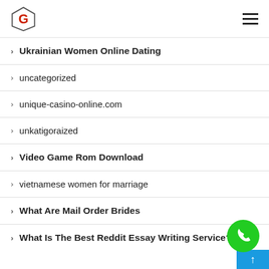G logo and hamburger menu
Ukrainian Women Online Dating
uncategorized
unique-casino-online.com
unkatigoraized
Video Game Rom Download
vietnamese women for marriage
What Are Mail Order Brides
What Is The Best Reddit Essay Writing Service?